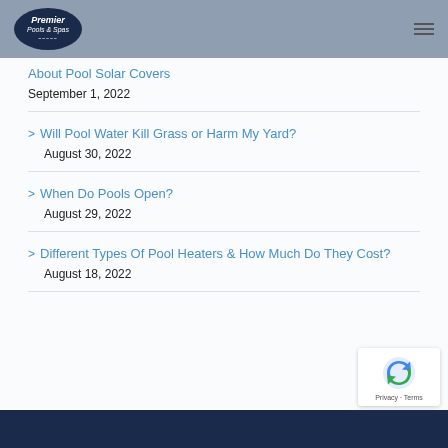Premier Pools & Spas
About Pool Solar Covers — September 1, 2022
Will Pool Water Kill Grass or Harm My Yard? — August 30, 2022
When Do Pools Open? — August 29, 2022
Different Types Of Pool Heaters & How Much Do They Cost? — August 18, 2022